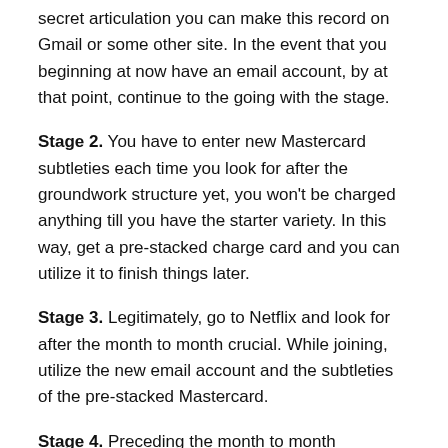secret articulation you can make this record on Gmail or some other site. In the event that you beginning at now have an email account, by at that point, continue to the going with the stage.
Stage 2. You have to enter new Mastercard subtleties each time you look for after the groundwork structure yet, you won't be charged anything till you have the starter variety. In this way, get a pre-stacked charge card and you can utilize it to finish things later.
Stage 3. Legitimately, go to Netflix and look for after the month to month crucial. While joining, utilize the new email account and the subtleties of the pre-stacked Mastercard.
Stage 4. Preceding the month to month preliminary disappointments, you have to drop your Netflix record or